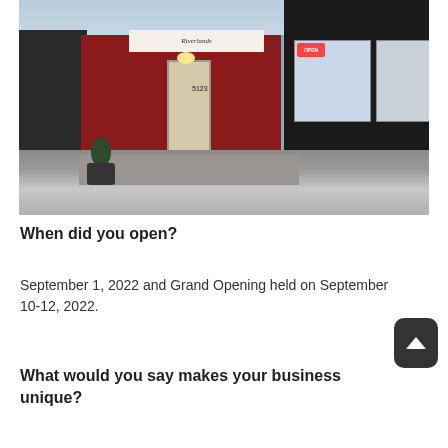[Figure (photo): Exterior storefront photo of Riverlands art gallery/store in winter. Red facade with glass door, address 5124, OPEN neon sign visible. Black brick building to the right with lit display windows showing artwork. Snow on the ground, small potted tree near entrance. Snowy/icy road in foreground.]
When did you open?
September 1, 2022 and Grand Opening held on September 10-12, 2022.
What would you say makes your business unique?